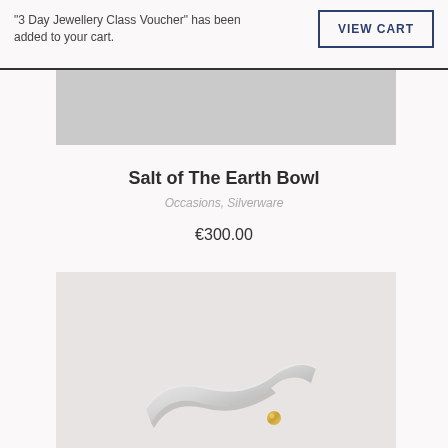"3 Day Jewellery Class Voucher" has been added to your cart.
VIEW CART
[Figure (photo): Partial view of a grey background image at the top of the product listing page]
Salt of The Earth Bowl
Occasions, Silverware
€300.00
[Figure (photo): Close-up photo of a silver ring with a wavy organic form and a small gold ball detail, photographed on a light grey background]